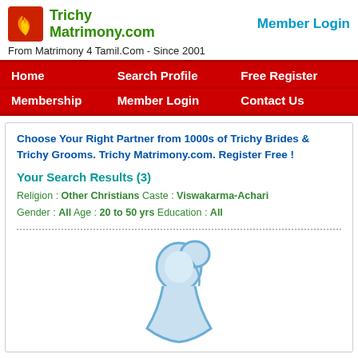[Figure (logo): Trichy Matrimony.com logo with orange flame icon and green text]
Member Login
From Matrimony 4 Tamil.Com - Since 2001
Home   Search Profile   Free Register   Membership   Member Login   Contact Us
Choose Your Right Partner from 1000s of Trichy Brides & Trichy Grooms. Trichy Matrimony.com. Register Free !
Your Search Results (3)
Religion : Other Christians Caste : Viswakarma-Achari Gender : All Age : 20 to 50 yrs Education : All
[Figure (illustration): Generic profile silhouette illustration of a person in blue outline style]